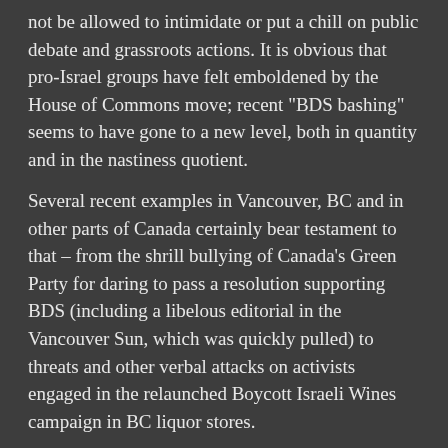not be allowed to intimidate or put a chill on public debate and grassroots actions. It is obvious that pro-Israel groups have felt emboldened by the House of Commons move; recent "BDS bashing" seems to have gone to a new level, both in quantity and in the nastiness quotient.
Several recent examples in Vancouver, BC and in other parts of Canada certainly bear testament to that – from the shrill bullying of Canada's Green Party for daring to pass a resolution supporting BDS (including a libelous editorial in the Vancouver Sun, which was quickly pulled) to threats and other verbal attacks on activists engaged in the relaunched Boycott Israeli Wines campaign in BC liquor stores.
This year, on the 68th anniversary of the Nakba, BDS Vancouver-Coast Salish put out the call to demand that the BC Government stop its complicity in war crimes by carrying Israeli wines (many sourced from illegal settlements). In fact, not only are BC liquor stores carrying wines from the occupied Golan Heights, but they have added several others from the occupied